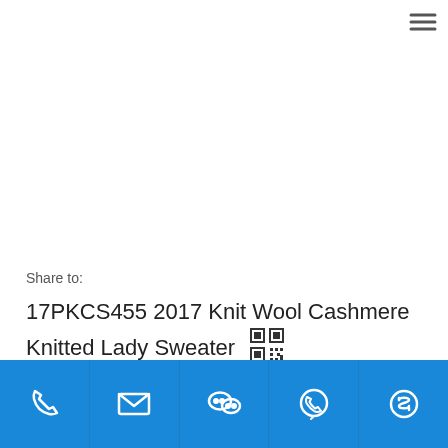[Figure (other): Hamburger menu icon (three horizontal lines) in top right corner]
Share to:
17PKCS455 2017 Knit Wool Cashmere Knitted Lady Sweater
[Figure (other): QR code icon]
Model:    17PKCS455
[Figure (other): Footer bar with 5 contact icons: phone, email, WeChat, WhatsApp, Skype on blue background]